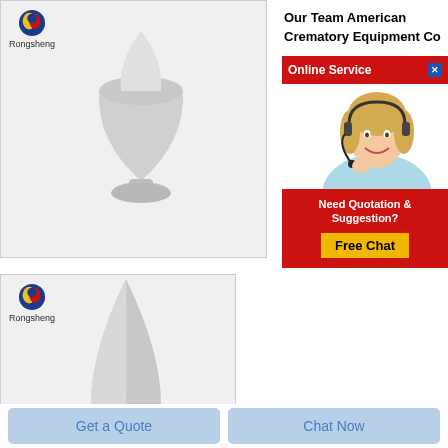[Figure (photo): Product image showing a white powder in a teardrop/bullet-shaped container on a stand, with Rongsheng logo top left]
Our Team American Crematory Equipment Co
1453
Sprin
[Figure (infographic): Online Service popup with red header, close button, photo of female customer service representative with headset, and quotation/free chat section]
[Figure (photo): Second product image showing white powder in a pointed/bullet shape, with Rongsheng logo top left, partially cropped]
Get a Quote
Chat Now